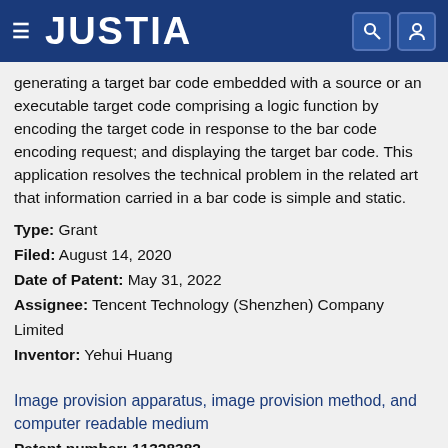JUSTIA
generating a target bar code embedded with a source or an executable target code comprising a logic function by encoding the target code in response to the bar code encoding request; and displaying the target bar code. This application resolves the technical problem in the related art that information carried in a bar code is simple and static.
Type: Grant
Filed: August 14, 2020
Date of Patent: May 31, 2022
Assignee: Tencent Technology (Shenzhen) Company Limited
Inventor: Yehui Huang
Image provision apparatus, image provision method, and computer readable medium
Patent number: 11328382